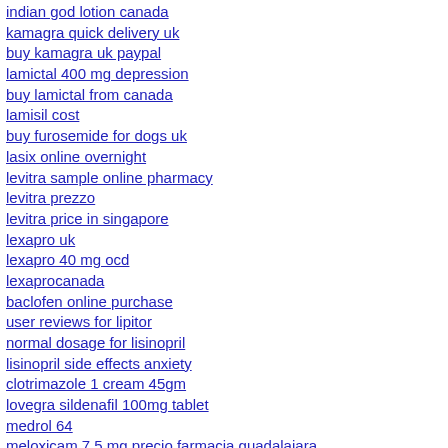indian god lotion canada
kamagra quick delivery uk
buy kamagra uk paypal
lamictal 400 mg depression
buy lamictal from canada
lamisil cost
buy furosemide for dogs uk
lasix online overnight
levitra sample online pharmacy
levitra prezzo
levitra price in singapore
lexapro uk
lexapro 40 mg ocd
lexaprocanada
baclofen online purchase
user reviews for lipitor
normal dosage for lisinopril
lisinopril side effects anxiety
clotrimazole 1 cream 45gm
lovegra sildenafil 100mg tablet
medrol 64
meloxicam 7.5 mg precio farmacia guadalajara
methotrexate canada product monograph
micardis manufacturer coupon
mitoxantrone cost canada